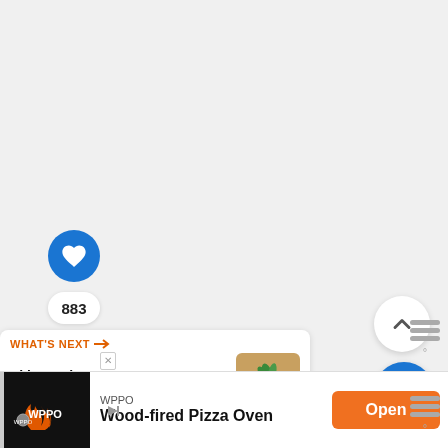[Figure (screenshot): Mobile app screenshot showing a social sharing sidebar with a blue heart/like button, 883 count, and share button on the left. An up-arrow button and blue search button on the right. A 'What's Next' card showing 'Skinny Slow Cooker...' with a food image. A WPPO 'Wood-fired Pizza Oven' ad banner at the bottom with an orange 'Open' button. Weather indicator icons on the far right.]